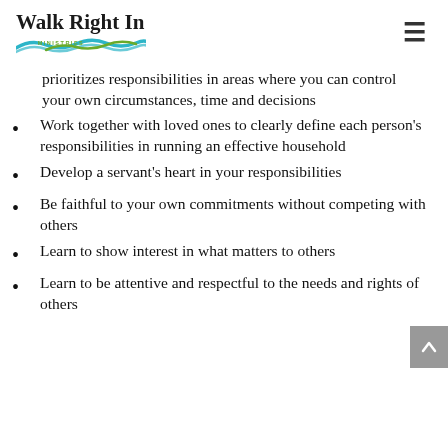[Figure (logo): Walk Right In Ministries logo with stylized wave graphic in teal/blue and green, text reads 'Walk Right In' in bold serif and 'MINISTRIES' in small green caps below]
prioritizes responsibilities in areas where you can control your own circumstances, time and decisions
Work together with loved ones to clearly define each person's responsibilities in running an effective household
Develop a servant's heart in your responsibilities
Be faithful to your own commitments without competing with others
Learn to show interest in what matters to others
Learn to be attentive and respectful to the needs and rights of others